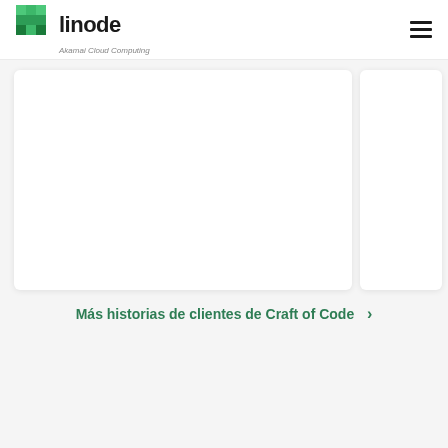Linode | Akamai Cloud Computing
[Figure (other): White card panel (main content card, mostly white/empty)]
[Figure (other): White card panel (side content card, partially visible)]
Más historias de clientes de Craft of Code >